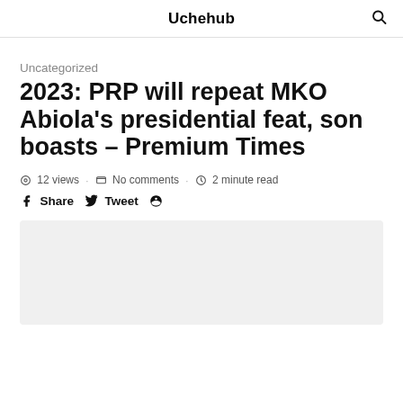Uchehub
Uncategorized
2023: PRP will repeat MKO Abiola's presidential feat, son boasts – Premium Times
12 views · No comments · 2 minute read
Share  Tweet
[Figure (photo): Light gray image placeholder rectangle]